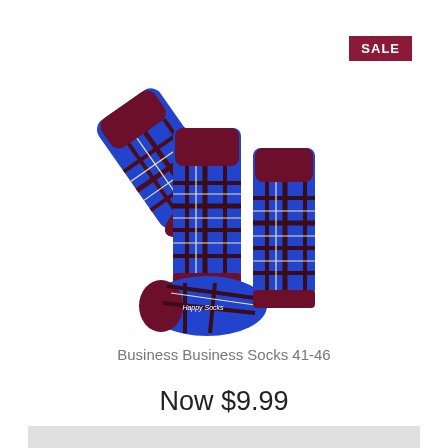[Figure (photo): A pair of blue and burgundy/maroon plaid (tartan) Happy Socks displayed in a styled flat lay arrangement showing both socks at different angles. The socks feature a blue base with dark maroon/burgundy plaid lines and thin yellow/cream accent stripes. The Happy Socks logo is visible on the sole. A red 'SALE' badge appears in the top right corner.]
Business Business Socks 41-46
Now $9.99